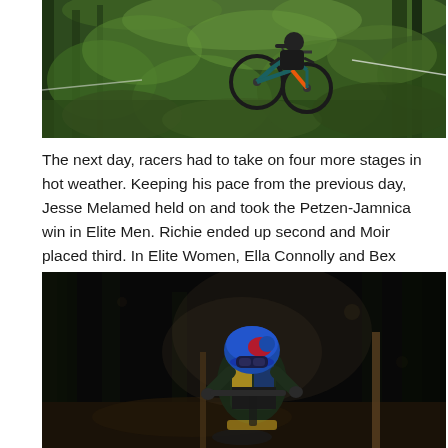[Figure (photo): Mountain biker riding through a dense green forest on a trail course, with a teal/orange mountain bike visible, surrounded by lush green vegetation and tall trees, tape marking the trail.]
The next day, racers had to take on four more stages in hot weather. Keeping his pace from the previous day, Jesse Melamed held on and took the Petzen-Jamnica win in Elite Men. Richie ended up second and Moir placed third. In Elite Women, Ella Connolly and Bex Baraona kept it consistent and took third and fifth once again.
[Figure (photo): A mountain biker racing downhill through a dark forest at night or in low light conditions, wearing a blue helmet with Red Bull branding, colorful race jersey, leaning aggressively around a corner on a trail marked with wooden posts.]